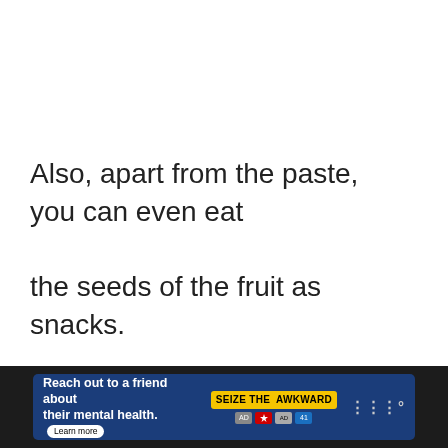Also, apart from the paste, you can even eat the seeds of the fruit as snacks.
[Figure (screenshot): UI elements: heart/like button (teal circle with heart icon), count '1', share button]
[Figure (infographic): What's Next widget showing 'The 5 Best Substitutes f...' with a thumbnail]
[Figure (screenshot): Dark footer advertisement banner: 'Reach out to a friend about their mental health. Learn more' with 'SEIZE THE AWKWARD' badge and logos]